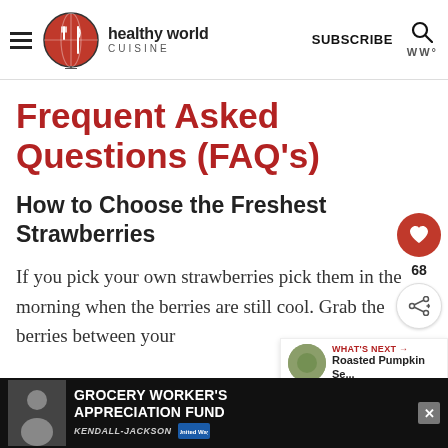healthy world CUISINE
Frequent Asked Questions (FAQ's)
How to Choose the Freshest Strawberries
If you pick your own strawberries pick them in the morning when the berries are still cool. Grab the berries between your
[Figure (other): GROCERY WORKER'S APPRECIATION FUND advertisement banner with Kendall Jackson and United Way logos]
WHAT'S NEXT → Roasted Pumpkin Se...